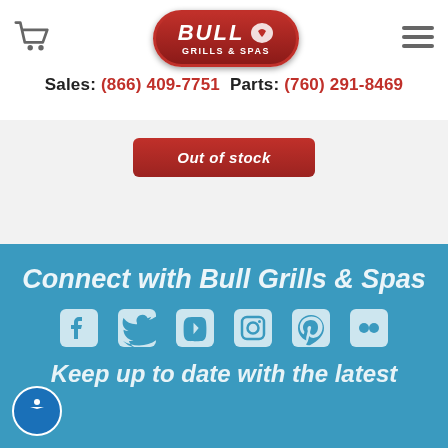Bull Grills & Spas — Sales: (866) 409-7751  Parts: (760) 291-8469
[Figure (screenshot): Out of Stock button on product page with carousel dots indicator]
[Figure (screenshot): Blue footer section with Connect with Bull Grills & Spas heading, social media icons (Facebook, Twitter, YouTube, Instagram, Pinterest, Flickr), and Keep up to date with the latest text]
Connect with Bull Grills & Spas
Keep up to date with the latest